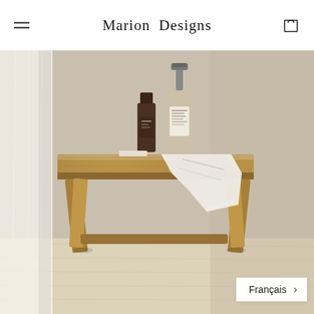Marion Designs
[Figure (photo): A rustic wooden stool with angled legs placed against a warm beige/taupe wall. On the stool top sit two bottles (one dark glass bottle and one clear soap dispenser with pump) and a white folded towel draped over the edge. A sheer white curtain is visible on the left. The floor is light wood. The overall aesthetic is minimal and spa-like.]
Français